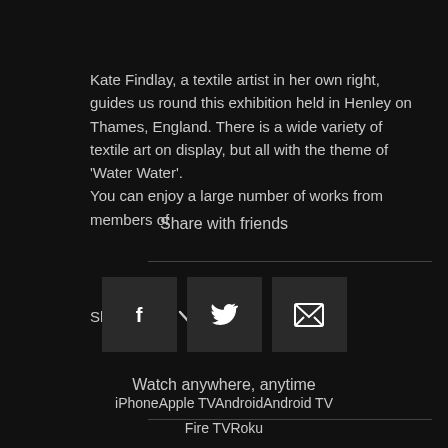Kate Findlay, a textile artist in her own right, guides us round this exhibition held in Henley on Thames, England. There is a wide variety of textile art on display, but all with the theme of ‘Water Water’. You can enjoy a large number of works from members of
Show more ⌄
Share with friends
[Figure (infographic): Three social share buttons: Facebook (f), Twitter (bird icon), and Email (envelope icon), each in a dark grey square]
Watch anywhere, anytime
iPhone   Apple TV   Android   Android TV   Fire TV   Roku